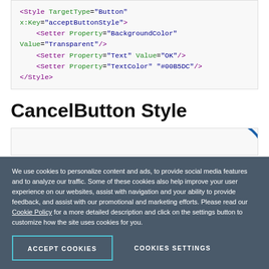<Style TargetType="Button" x:Key="acceptButtonStyle">
    <Setter Property="BackgroundColor" Value="Transparent"/>
    <Setter Property="Text" Value="OK"/>
    <Setter Property="TextColor" Value="#00B5DC"/>
</Style>
CancelButton Style
[Figure (screenshot): Partial code block visible at bottom, clipped by cookie banner]
We use cookies to personalize content and ads, to provide social media features and to analyze our traffic. Some of these cookies also help improve your user experience on our websites, assist with navigation and your ability to provide feedback, and assist with our promotional and marketing efforts. Please read our Cookie Policy for a more detailed description and click on the settings button to customize how the site uses cookies for you.